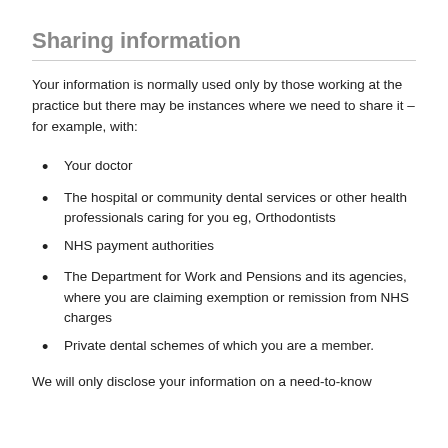Sharing information
Your information is normally used only by those working at the practice but there may be instances where we need to share it – for example, with:
Your doctor
The hospital or community dental services or other health professionals caring for you eg, Orthodontists
NHS payment authorities
The Department for Work and Pensions and its agencies, where you are claiming exemption or remission from NHS charges
Private dental schemes of which you are a member.
We will only disclose your information on a need-to-know